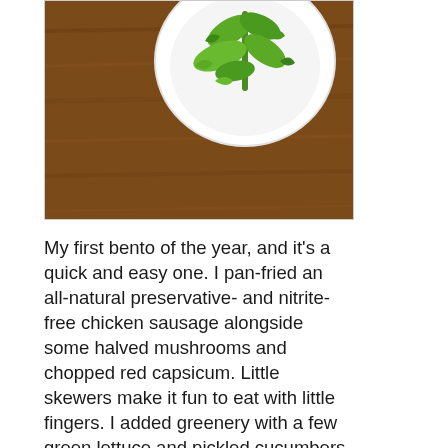[Figure (photo): Overhead photo of a white bowl with green vegetables (lettuce/herbs) on a wooden table surface, top portion of image visible]
My first bento of the year, and it's a quick and easy one. I pan-fried an all-natural preservative- and nitrite-free chicken sausage alongside some halved mushrooms and chopped red capsicum. Little skewers make it fun to eat with little fingers. I added greenery with a few green lettuce and pickled cucumbers. Everything fits perfectly in my LunchBots Clicks. This box is